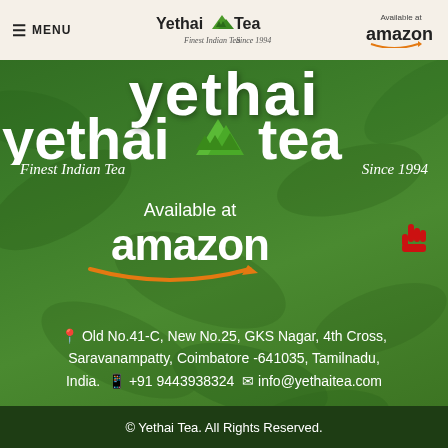≡ MENU | Yethai Tea – Finest Indian Tea Since 1994 | Available at amazon
[Figure (logo): Yethai Tea brand logo over green tea leaf background with text 'yethai tea', 'Finest Indian Tea', 'Since 1994']
[Figure (logo): Available at amazon logo with orange smile arrow and SUBSCRIBE button with hand cursor]
Old No.41-C, New No.25, GKS Nagar, 4th Cross, Saravanampatty, Coimbatore -641035, Tamilnadu, India.  +91 9443938324  info@yethaitea.com
© Yethai Tea. All Rights Reserved.